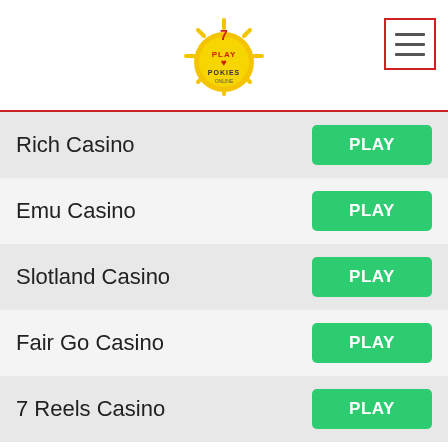Play Pokies Online
Rich Casino — PLAY
Emu Casino — PLAY
Slotland Casino — PLAY
Fair Go Casino — PLAY
7 Reels Casino — PLAY
[Figure (infographic): Bottom advertisement banner: 7 Reels Casino ad showing '25 FREE SPINS NO DEPOSIT REQUIRED' with a GET FREE SPINS button, dark background with a man in sunglasses and 7 Reels Casino logo]
Get latest Email Alerts (partial, behind banner)